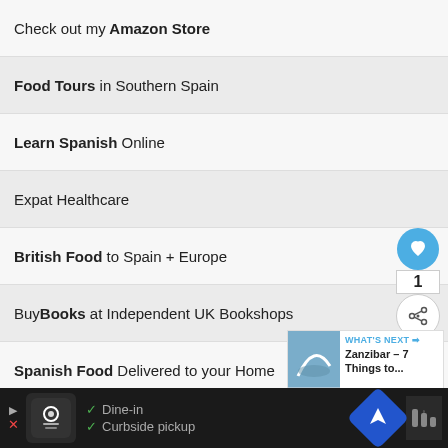Check out my Amazon Store
Food Tours in Southern Spain
Learn Spanish Online
Expat Healthcare
British Food to Spain + Europe
Buy Books at Independent UK Bookshops
Spanish Food Delivered to your Home
Tickets to the Best Sights + Attractions
GYG Tours + Activities
Hotels & Holiday Apartments
Recommended Travel Insurance IATI
Best Insurance for Digital Nomads
[Figure (infographic): Floating social widget with heart icon showing count 1 and share icon]
[Figure (infographic): What's Next card showing Zanzibar - 7 Things to...]
[Figure (infographic): Bottom ad bar with restaurant icon, Dine-in and Curbside pickup options, navigation icon, and menu]